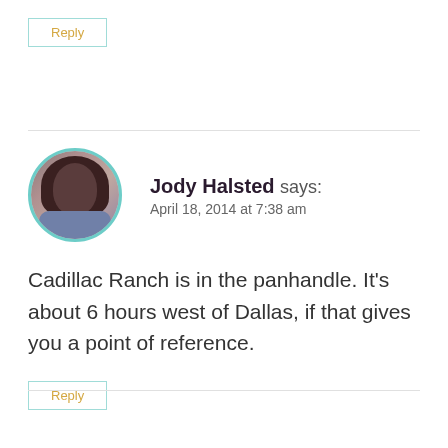Reply
Jody Halsted says:
April 18, 2014 at 7:38 am
Cadillac Ranch is in the panhandle. It's about 6 hours west of Dallas, if that gives you a point of reference.
Reply